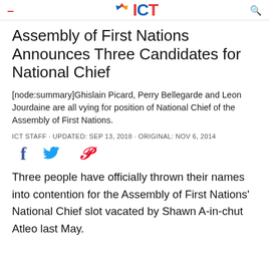ICT
Assembly of First Nations Announces Three Candidates for National Chief
[node:summary]Ghislain Picard, Perry Bellegarde and Leon Jourdaine are all vying for position of National Chief of the Assembly of First Nations.
ICT STAFF · UPDATED: SEP 13, 2018 · ORIGINAL: NOV 6, 2014
[Figure (illustration): Social media share icons: Facebook (f), Twitter (bird), Pinterest (p)]
Three people have officially thrown their names into contention for the Assembly of First Nations' National Chief slot vacated by Shawn A-in-chut Atleo last May.